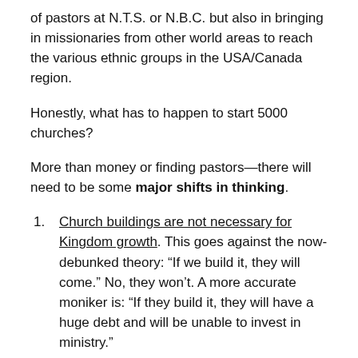of pastors at N.T.S. or N.B.C. but also in bringing in missionaries from other world areas to reach the various ethnic groups in the USA/Canada region.
Honestly, what has to happen to start 5000 churches?
More than money or finding pastors—there will need to be some major shifts in thinking.
Church buildings are not necessary for Kingdom growth. This goes against the now-debunked theory: “If we build it, they will come.” No, they won’t. A more accurate moniker is: “If they build it, they will have a huge debt and will be unable to invest in ministry.”